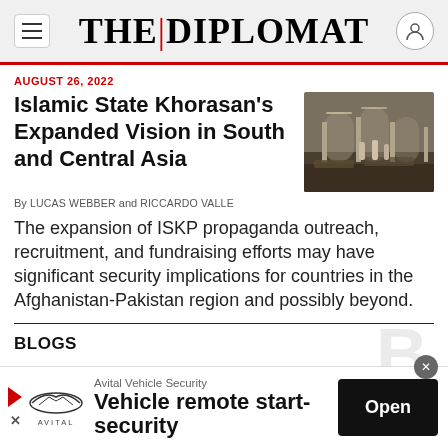THE DIPLOMAT
AUGUST 26, 2022
Islamic State Khorasan's Expanded Vision in South and Central Asia
[Figure (photo): Aftermath of an attack inside a mosque, debris and damage visible, people standing in the background]
By LUCAS WEBBER and RICCARDO VALLE
The expansion of ISKP propaganda outreach, recruitment, and fundraising efforts may have significant security implications for countries in the Afghanistan-Pakistan region and possibly beyond.
BLOGS
[Figure (infographic): Advertisement banner: Avital Vehicle Security — Vehicle remote start-security. Open button on right.]